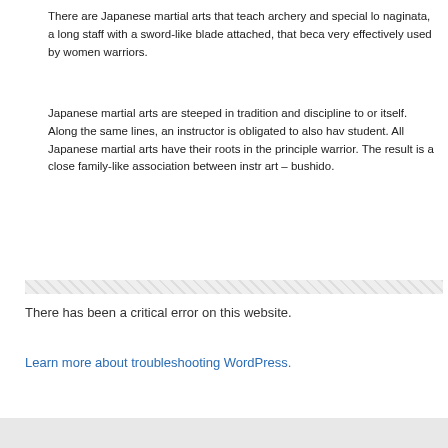There are Japanese martial arts that teach archery and special lo naginata, a long staff with a sword-like blade attached, that beca very effectively used by women warriors.
Japanese martial arts are steeped in tradition and discipline to or itself. Along the same lines, an instructor is obligated to also hav student. All Japanese martial arts have their roots in the principle warrior. The result is a close family-like association between instr art – bushido.
There has been a critical error on this website.
Learn more about troubleshooting WordPress.